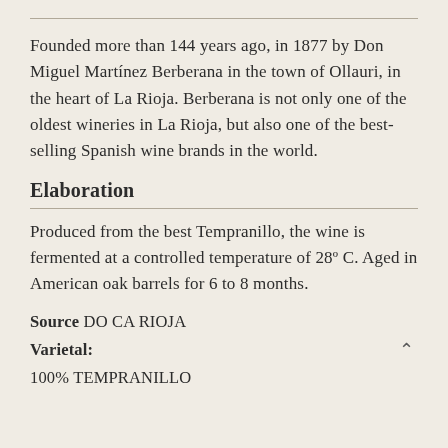Founded more than 144 years ago, in 1877 by Don Miguel Martínez Berberana in the town of Ollauri, in the heart of La Rioja. Berberana is not only one of the oldest wineries in La Rioja, but also one of the best-selling Spanish wine brands in the world.
Elaboration
Produced from the best Tempranillo, the wine is fermented at a controlled temperature of 28º C. Aged in American oak barrels for 6 to 8 months.
Source DO CA RIOJA
Varietal:
100% TEMPRANILLO